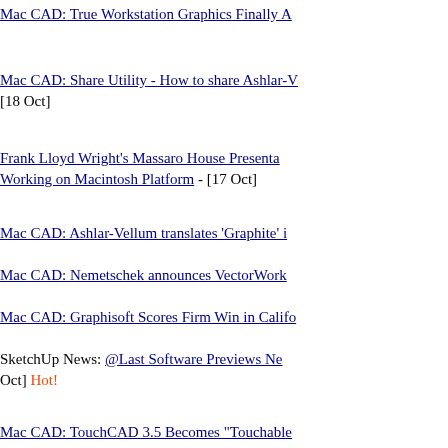Mac CAD: True Workstation Graphics Finally A...
Mac CAD: Share Utility - How to share Ashlar-V... [18 Oct]
Frank Lloyd Wright's Massaro House Presenta... Working on Macintosh Platform - [17 Oct]
Mac CAD: Ashlar-Vellum translates 'Graphite' i...
Mac CAD: Nemetschek announces VectorWork...
Mac CAD: Graphisoft Scores Firm Win in Califo...
SketchUp News: @Last Software Previews Ne... Oct] Hot!
Mac CAD: TouchCAD 3.5 Becomes "Touchable...
High Impact: Autodesk to acquire Alias - what d...
Exclusive Interview: Architosh Talks to Graphise... Oct] Hot!
Special Series: Apple-Intel Transition to be Pos... Developers and Their Users - [4 Oct] Hot!
Architosh Show Reports Index - [4 Oct]